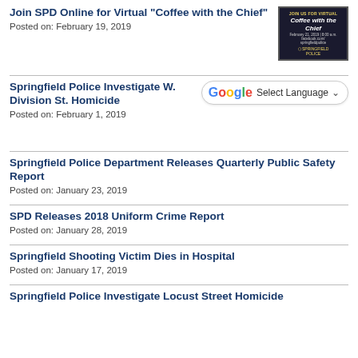Join SPD Online for Virtual "Coffee with the Chief"
Posted on: February 19, 2019
[Figure (photo): Coffee with the Chief promotional image showing police chief with event details]
Springfield Police Investigate W. Division St. Homicide
Posted on: February 1, 2019
[Figure (screenshot): Google Translate Select Language widget]
Springfield Police Department Releases Quarterly Public Safety Report
Posted on: January 23, 2019
SPD Releases 2018 Uniform Crime Report
Posted on: January 28, 2019
Springfield Shooting Victim Dies in Hospital
Posted on: January 17, 2019
Springfield Police Investigate Locust Street Homicide